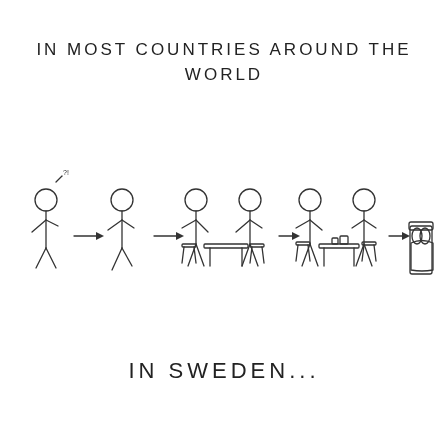IN MOST COUNTRIES AROUND THE WORLD
[Figure (illustration): Stick figure comic strip showing a progression: a single stick figure meeting another, then two figures sitting at a table, then more figures joining at the table in stages, then finally ending with figures in a bed — illustrating how relationships develop in most countries around the world, ending with marriage/cohabitation.]
IN SWEDEN...